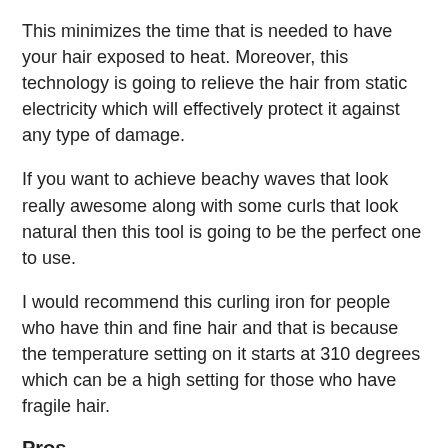This minimizes the time that is needed to have your hair exposed to heat. Moreover, this technology is going to relieve the hair from static electricity which will effectively protect it against any type of damage.
If you want to achieve beachy waves that look really awesome along with some curls that look natural then this tool is going to be the perfect one to use.
I would recommend this curling iron for people who have thin and fine hair and that is because the temperature setting on it starts at 310 degrees which can be a high setting for those who have fragile hair.
Pros
Highly-Affordable curling iron for those who have a limited budget